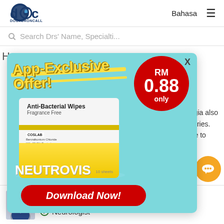[Figure (logo): DoctorOnCall logo - 'doc' in blue circle with 'DOCTORONCALL' text below]
Bahasa
☰
Search Drs' Name, Specialti...
[Figure (infographic): App-Exclusive Offer advertisement popup for Neutrovis Anti-Bacterial Wipes Fragrance Free, RM 0.88 only, with Download Now button on teal background]
ted for Monoplegia also consult a ries. Click here to
Help?
Dr Tan Wee Tong
Neurologist